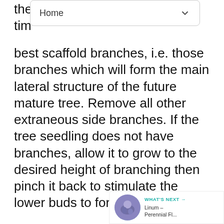Home
the time best scaffold branches, i.e. those branches which will form the main lateral structure of the future mature tree. Remove all other extraneous side branches. If the tree seedling does not have branches, allow it to grow to the desired height of branching then pinch it back to stimulate the lower buds to form branches.
Ball and burlap trees are dug up with their root systems somewhat intact. This was mostly done for conifers and broadleaf evergreens, but has become common for deciduous trees as well. Since some root mass is lost in the digging stage, a light